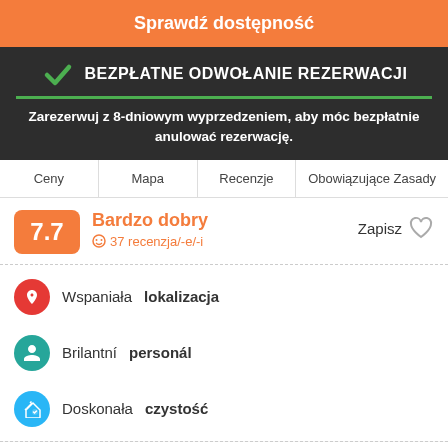Sprawdź dostępność
BEZPŁATNE ODWOŁANIE REZERWACJI
Zarezerwuj z 8-dniowym wyprzedzeniem, aby móc bezpłatnie anulować rezerwację.
Ceny
Mapa
Recenzje
Obowiązujące Zasady
7.7 Bardzo dobry 37 recenzja/-e/-i Zapisz
Wspaniała lokalizacja
Brilantní personál
Doskonała czystość
Floating Hostel has been designed in a Kashmiri minimalistic design theme. Here you can interact with a vibrant community of travellers.